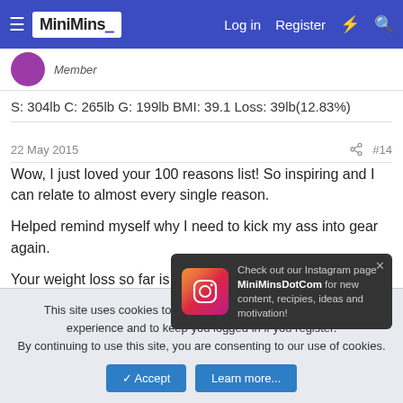MiniMins — Log in  Register
Member
S: 304lb C: 265lb G: 199lb BMI: 39.1 Loss: 39lb(12.83%)
22 May 2015  #14
Wow, I just loved your 100 reasons list! So inspiring and I can relate to almost every single reason.

Helped remind myself why I need to kick my ass into gear again.

Your weight loss so far is brilliant, well done!
[Figure (screenshot): Instagram popup overlay: Instagram icon, text 'Check out our Instagram page MiniMinsDotCom for new content, recipies, ideas and motivation!' with close button]
Check out our Instagram page MiniMinsDotCom for new content, recipies, ideas and motivation!
This site uses cookies to help personalise content, tailor your experience and to keep you logged in if you register.
By continuing to use this site, you are consenting to our use of cookies.
✓ Accept   Learn more...